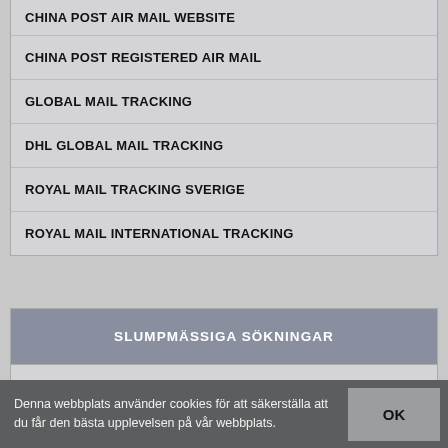CHINA POST AIR MAIL WEBSITE
CHINA POST REGISTERED AIR MAIL
GLOBAL MAIL TRACKING
DHL GLOBAL MAIL TRACKING
ROYAL MAIL TRACKING SVERIGE
ROYAL MAIL INTERNATIONAL TRACKING
SLUMPMÄSSIGA SÖKNINGAR
STOCKHOLMS STAD LOGIN
Denna webbplats använder cookies för att säkerställa att du får den bästa upplevelsen på vår webbplats.